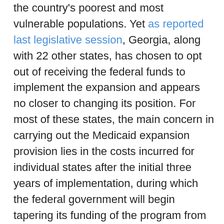the country's poorest and most vulnerable populations. Yet as reported last legislative session, Georgia, along with 22 other states, has chosen to opt out of receiving the federal funds to implement the expansion and appears no closer to changing its position. For most of these states, the main concern in carrying out the Medicaid expansion provision lies in the costs incurred for individual states after the initial three years of implementation, during which the federal government will begin tapering its funding of the program from 100% to 90% after 2021. Even so, due to increased scrutiny from healthcare and consumer advocacy groups, several states are employing plans that would enable them to accept federal Medicaid funds on their own terms, including Arkansas, Michigan, Pennsylvania, Iowa and Utah.
At the heart of these individualized state plans is the push